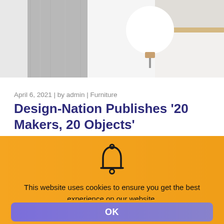[Figure (photo): Top photo of minimalist interior with concrete column and white spherical lamp on wooden surface]
April 6, 2021 | by admin | Furniture
Design-Nation Publishes '20 Makers, 20 Objects'
[Figure (photo): Two side-by-side photos: left shows modern interior with yellow chair and wall art; right shows geometric wire-frame house object]
[Figure (infographic): Cookie consent overlay with orange/amber background, bell icon, cookie notice text, and OK button]
This website uses cookies to ensure you get the best experience on our website.